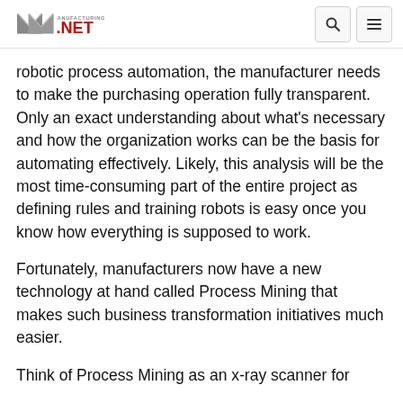Manufacturing.net
robotic process automation, the manufacturer needs to make the purchasing operation fully transparent. Only an exact understanding about what's necessary and how the organization works can be the basis for automating effectively. Likely, this analysis will be the most time-consuming part of the entire project as defining rules and training robots is easy once you know how everything is supposed to work.
Fortunately, manufacturers now have a new technology at hand called Process Mining that makes such business transformation initiatives much easier.
Think of Process Mining as an x-ray scanner for